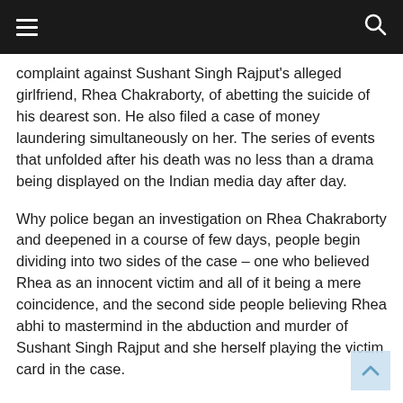≡  🔍
complaint against Sushant Singh Rajput's alleged girlfriend, Rhea Chakraborty, of abetting the suicide of his dearest son. He also filed a case of money laundering simultaneously on her. The series of events that unfolded after his death was no less than a drama being displayed on the Indian media day after day.
Why police began an investigation on Rhea Chakraborty and deepened in a course of few days, people begin dividing into two sides of the case – one who believed Rhea as an innocent victim and all of it being a mere coincidence, and the second side people believing Rhea abhi to mastermind in the abduction and murder of Sushant Singh Rajput and she herself playing the victim card in the case.